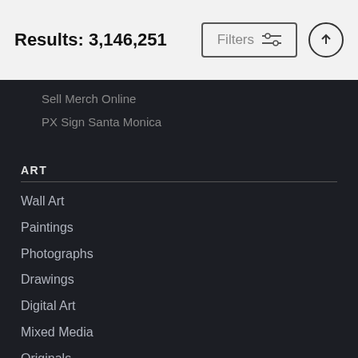Results: 3,146,251
Sell Merch Online
PX Sign Santa Monica
ART
Wall Art
Paintings
Photographs
Drawings
Digital Art
Mixed Media
Originals
SHOP
Wall Art
Home Decor
Tote Bags & Zip Pouches